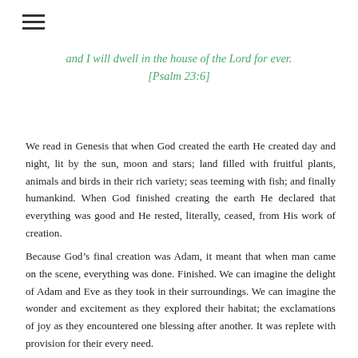[Figure (other): Hamburger menu icon (three horizontal lines)]
and I will dwell in the house of the Lord for ever.
[Psalm 23:6]
We read in Genesis that when God created the earth He created day and night, lit by the sun, moon and stars; land filled with fruitful plants, animals and birds in their rich variety; seas teeming with fish; and finally humankind. When God finished creating the earth He declared that everything was good and He rested, literally, ceased, from His work of creation.
Because God’s final creation was Adam, it meant that when man came on the scene, everything was done. Finished. We can imagine the delight of Adam and Eve as they took in their surroundings. We can imagine the wonder and excitement as they explored their habitat; the exclamations of joy as they encountered one blessing after another. It was replete with provision for their every need.